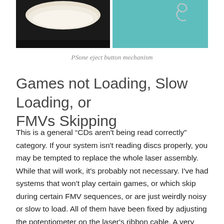[Figure (photo): Two photos side by side: left shows a white/cream colored PSone eject button mechanism on dark background; right shows a paperclip on a teal/turquoise background.]
PSone eject button mechanism
Games not Loading, Slow Loading, or FMVs Skipping
This is a general “CDs aren't being read correctly” category. If your system isn't reading discs properly, you may be tempted to replace the whole laser assembly. While that will work, it's probably not necessary. I've had systems that won't play certain games, or which skip during certain FMV sequences, or are just weirdly noisy or slow to load. All of them have been fixed by adjusting the potentiometer on the laser's ribbon cable. A very slight clockwise turn does the trick.
B...